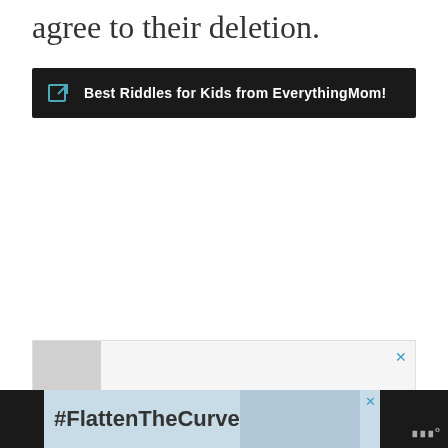agree to their deletion.
[Figure (infographic): Dark promotional banner with external link icon and text 'Best Riddles for Kids from EverythingMom!']
[Figure (infographic): Advertisement box with thumbnail area on left and close (X) button in blue on right]
[Figure (infographic): Bottom banner advertisement with dark background on sides, light blue center area with '#FlattenTheCurve' text and handwashing image, close button, and logo on right]